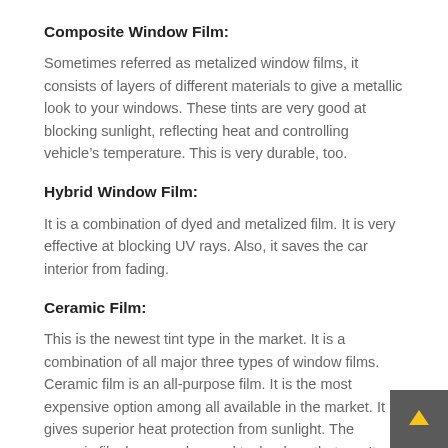Composite Window Film:
Sometimes referred as metalized window films, it consists of layers of different materials to give a metallic look to your windows. These tints are very good at blocking sunlight, reflecting heat and controlling vehicle’s temperature. This is very durable, too.
Hybrid Window Film:
It is a combination of dyed and metalized film. It is very effective at blocking UV rays. Also, it saves the car interior from fading.
Ceramic Film:
This is the newest tint type in the market. It is a combination of all major three types of window films. Ceramic film is an all-purpose film. It is the most expensive option among all available in the market. It gives superior heat protection from sunlight. The ceramic film has an advanced technology that won’t interfere with electronics, radar detection, mobile pho…